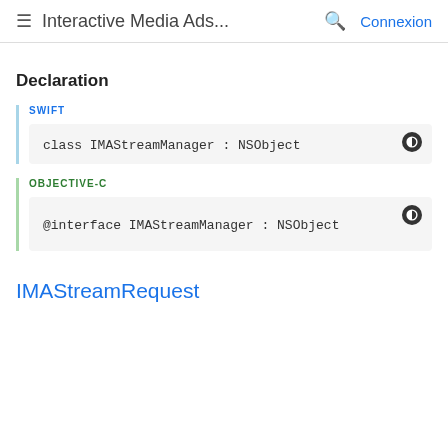≡  Interactive Media Ads...  🔍  Connexion
Declaration
SWIFT
class IMAStreamManager : NSObject
OBJECTIVE-C
@interface IMAStreamManager : NSObject
IMAStreamRequest